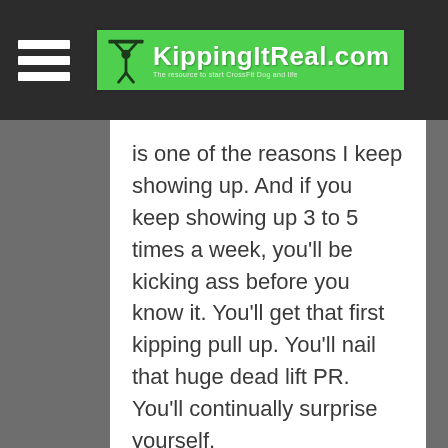KippingItReal.com
is one of the reasons I keep showing up. And if you keep showing up 3 to 5 times a week, you'll be kicking ass before you know it. You'll get that first kipping pull up. You'll nail that huge dead lift PR. You'll continually surprise yourself.
Keep showing up. Keep having fun. Kip it real.